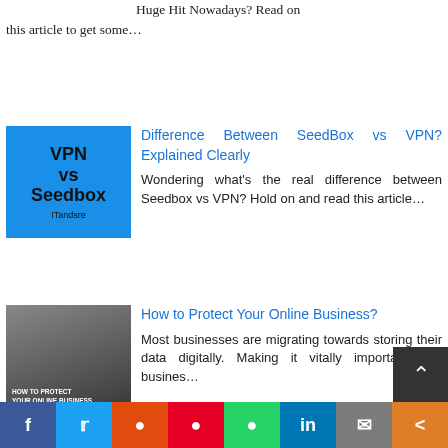Huge Hit Nowadays? Read on this article to get some…
[Figure (illustration): Blue VPN vs Seedbox text graphic with bold black text on blue background]
Difference Between SeedBox vs VPN? Explained Clearly
Wondering what's the real difference between Seedbox vs VPN? Hold on and read this article…
[Figure (photo): Photo of a person sitting at a computer with text overlay: HOW TO PROTECT YOUR ONLINE BUSINESS FROM A SECURITY THREAT]
How to Protect Your Online Business?
Most businesses are migrating towards storing their data digitally. Making it vitally important that busines…